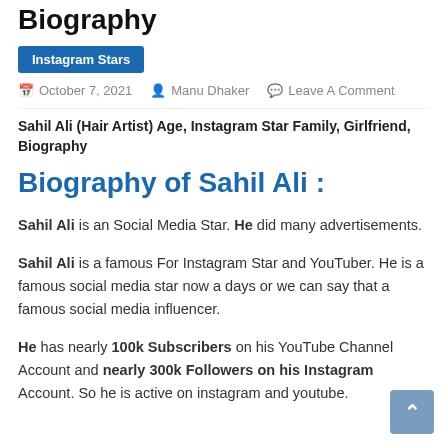Biography
Instagram Stars
October 7, 2021   Manu Dhaker   Leave A Comment
Sahil Ali (Hair Artist) Age, Instagram Star Family, Girlfriend, Biography
Biography of Sahil Ali :
Sahil Ali is an Social Media Star. He did many advertisements.
Sahil Ali is a famous For Instagram Star and YouTuber. He is a famous social media star now a days or we can say that a famous social media influencer.
He has nearly 100k Subscribers on his YouTube Channel Account and nearly 300k Followers on his Instagram Account. So he is active on instagram and youtube.